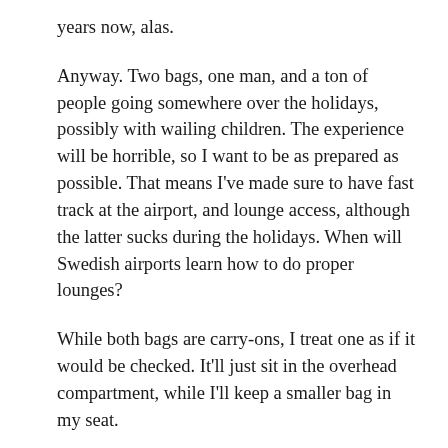years now, alas.
Anyway. Two bags, one man, and a ton of people going somewhere over the holidays, possibly with wailing children. The experience will be horrible, so I want to be as prepared as possible. That means I've made sure to have fast track at the airport, and lounge access, although the latter sucks during the holidays. When will Swedish airports learn how to do proper lounges?
While both bags are carry-ons, I treat one as if it would be checked. It'll just sit in the overhead compartment, while I'll keep a smaller bag in my seat.
The Rimova Classic Flight Cabin Multiwheel:
T-shirts, socks, and underwear – five of each. I also have plastic bags for laundry.